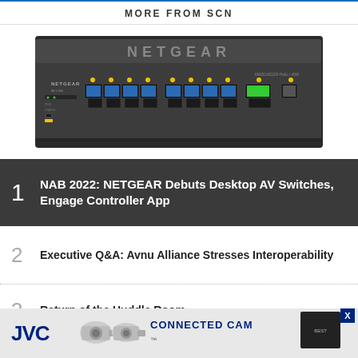MORE FROM SCN
[Figure (photo): NETGEAR AV line network switch, dark gray chassis with 8 Ethernet ports and 1 SFP port on the front panel]
1 NAB 2022: NETGEAR Debuts Desktop AV Switches, Engage Controller App
2 Executive Q&A: Avnu Alliance Stresses Interoperability
3 Return of the Huddle Room
[Figure (photo): JVC Connected Cam advertisement banner with JVC logo, camera images, and 'CONNECTED CAM' text]